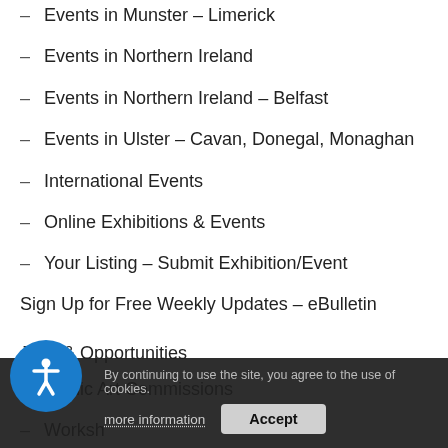– Events in Munster – Limerick
– Events in Northern Ireland
– Events in Northern Ireland – Belfast
– Events in Ulster – Cavan, Donegal, Monaghan
– International Events
– Online Exhibitions & Events
– Your Listing – Submit Exhibition/Event
Sign Up for Free Weekly Updates – eBulletin
Jobs & Opportunities
– Public Art Commissions
– Workshops
– For Sale / Wanted / Come Take it Away
– Funding / Awards